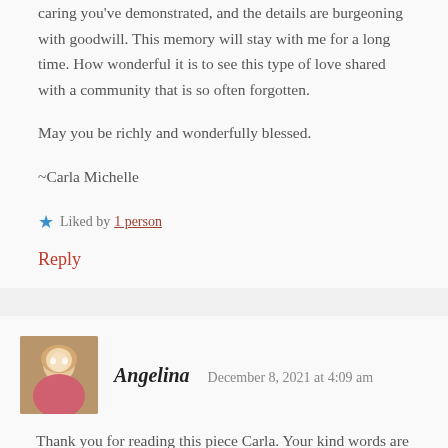caring you've demonstrated, and the details are burgeoning with goodwill. This memory will stay with me for a long time. How wonderful it is to see this type of love shared with a community that is so often forgotten.
May you be richly and wonderfully blessed.
~Carla Michelle
Liked by 1 person
Reply
[Figure (photo): Avatar photo of Angelina, a woman with light hair]
Angelina  December 8, 2021 at 4:09 am
Thank you for reading this piece Carla. Your kind words are a blessing to me.